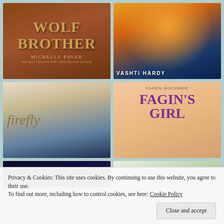[Figure (illustration): Book cover: Wolf Brother by Michelle Paver. Brown/orange background with title in gold letters. Subtitle: THE MULTI-MILLION COPY BESTSELLING AUTHOR]
[Figure (illustration): Book cover featuring a bear figure in orange/yellow tones against blue/dark background. Author name VASHTI HARDY at bottom.]
[Figure (illustration): Book cover titled 'firefly' in italic script. Features a young man's face and a woman. Dark cinematic style.]
[Figure (illustration): Book cover: FAGIN'S GIRL by KAREN McCOMBIE. Pink/peach background with purple title text. Shows umbrella, crows, and London buildings.]
[Figure (illustration): Partial book cover at bottom-left: dark background with red text starting CERRIE BURNE...]
[Figure (illustration): Partial book cover at bottom-right: light green background with orange/gold text starting ALEX SHEYM...]
Privacy & Cookies: This site uses cookies. By continuing to use this website, you agree to their use.
To find out more, including how to control cookies, see here: Cookie Policy
Close and accept